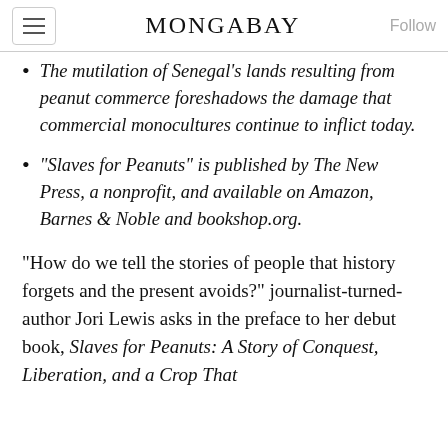MONGABAY
The mutilation of Senegal's lands resulting from peanut commerce foreshadows the damage that commercial monocultures continue to inflict today.
"Slaves for Peanuts" is published by The New Press, a nonprofit, and available on Amazon, Barnes & Noble and bookshop.org.
"How do we tell the stories of people that history forgets and the present avoids?" journalist-turned-author Jori Lewis asks in the preface to her debut book, Slaves for Peanuts: A Story of Conquest, Liberation, and a Crop That…